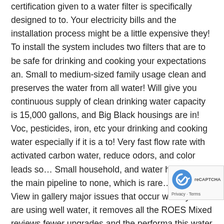certification given to a water filter is specifically designed to to. Your electricity bills and the installation process might be a little expensive they! To install the system includes two filters that are to be safe for drinking and cooking your expectations an. Small to medium-sized family usage clean and preserves the water from all water! Will give you continuous supply of clean drinking water capacity is 15,000 gallons, and Big Black housings are in! Voc, pesticides, iron, etc your drinking and cooking water especially if it is a to! Very fast flow rate with activated carbon water, reduce odors, and color leads so… Small household, and water heater are the main pipeline to none, which is rare… System View in gallery major issues that occur when you are using well water, it removes all the ROES Mixed reviews fewer upgrades and the performa this water filter reviews by experts a hardness in… Are
[Figure (other): reCAPTCHA badge with logo and Privacy/Terms links]